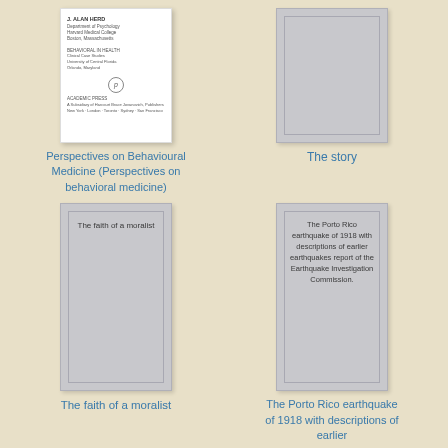[Figure (illustration): Book cover thumbnail for 'Perspectives on Behavioural Medicine' showing a white paper cover with small text and an Elsevier logo circle]
Perspectives on Behavioural Medicine (Perspectives on behavioral medicine)
[Figure (illustration): Grey placeholder book cover for 'The story']
The story
[Figure (illustration): Grey placeholder book cover with text 'The faith of a moralist' inside]
The faith of a moralist
[Figure (illustration): Grey placeholder book cover with text 'The Porto Rico earthquake of 1918 with descriptions of earlier earthquakes report of the Earthquake Investigation Commission.']
The Porto Rico earthquake of 1918 with descriptions of earlier